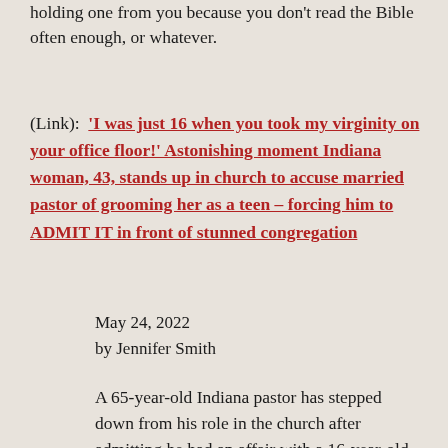holding one from you because you don't read the Bible often enough, or whatever.
(Link):  'I was just 16 when you took my virginity on your office floor!' Astonishing moment Indiana woman, 43, stands up in church to accuse married pastor of grooming her as a teen – forcing him to ADMIT IT in front of stunned congregation
May 24, 2022
by Jennifer Smith
A 65-year-old Indiana pastor has stepped down from his role in the church after admitting he had an affair with a 16-year-old